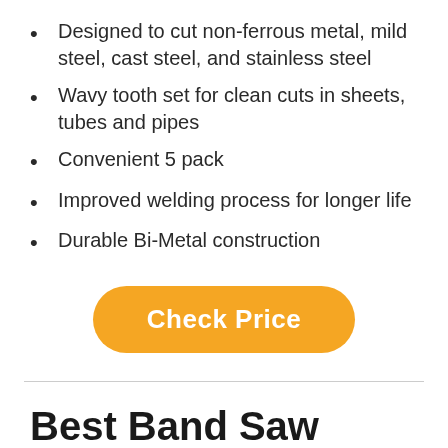Designed to cut non-ferrous metal, mild steel, cast steel, and stainless steel
Wavy tooth set for clean cuts in sheets, tubes and pipes
Convenient 5 pack
Improved welding process for longer life
Durable Bi-Metal construction
[Figure (other): Orange rounded button labeled 'Check Price']
Best Band Saw